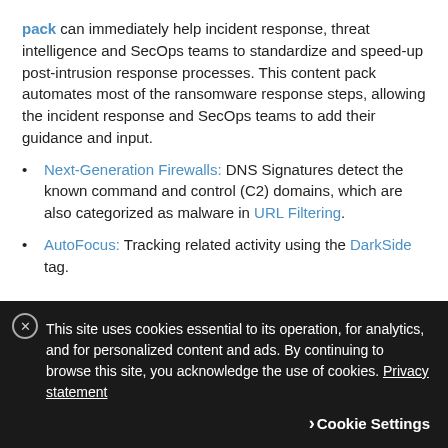pack can immediately help incident response, threat intelligence and SecOps teams to standardize and speed-up post-intrusion response processes. This content pack automates most of the ransomware response steps, allowing the incident response and SecOps teams to add their guidance and input.
Next-Generation Firewalls: DNS Signatures detect the known command and control (C2) domains, which are also categorized as malware in URL Filtering.
AutoFocus: Tracking related activity using the DarkSide tag.
IOCs
This site uses cookies essential to its operation, for analytics, and for personalized content and ads. By continuing to browse this site, you acknowledge the use of cookies. Privacy statement
Cookie Settings